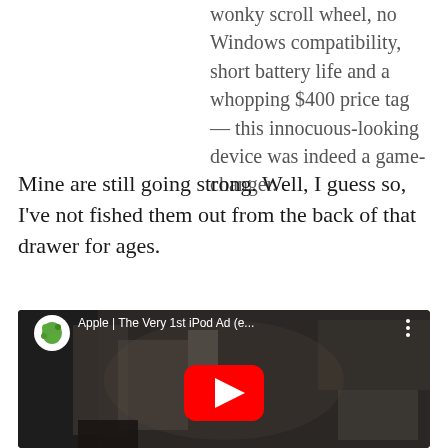wonky scroll wheel, no Windows compatibility, short battery life and a whopping $400 price tag — this innocuous-looking device was indeed a game-changer.
Mine are still going strong. Well, I guess so, I've not fished them out from the back of that drawer for ages.
[Figure (screenshot): Embedded YouTube video thumbnail showing 'Apple | The Very 1st iPod Ad (e...' with a green-splotch channel icon, dark room scene with a figure, and a red YouTube play button in the center.]